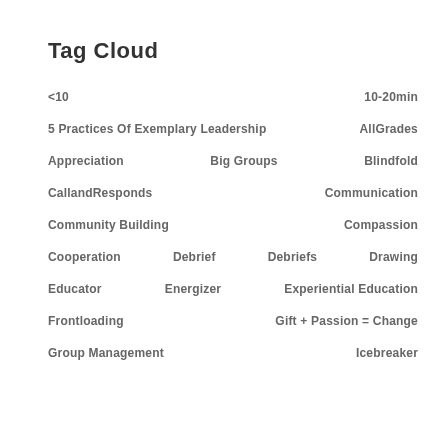Tag Cloud
<10   10-20min
5 Practices Of Exemplary Leadership   AllGrades
Appreciation   Big Groups   Blindfold
CallandResponds   Communication
Community Building   Compassion
Cooperation   Debrief   Debriefs   Drawing
Educator   Energizer   Experiential Education
Frontloading   Gift + Passion = Change
Group Management   Icebreaker